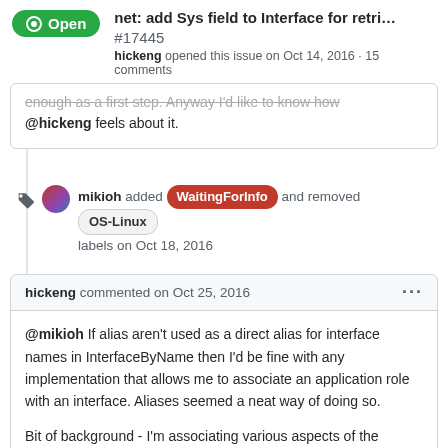net: add Sys field to Interface for retri... #17445
hickeng opened this issue on Oct 14, 2016 · 15 comments
enough as a first step. Anyway I'd like to know how @hickeng feels about it.
mikioh added WaitingForInfo and removed OS-Linux labels on Oct 18, 2016
hickeng commented on Oct 25, 2016
@mikioh If alias aren't used as a direct alias for interface names in InterfaceByName then I'd be fine with any implementation that allows me to associate an application role with an interface. Aliases seemed a neat way of doing so.

Bit of background - I'm associating various aspects of the system with application level roles so that one program can set those up, and others can use a known name at build time